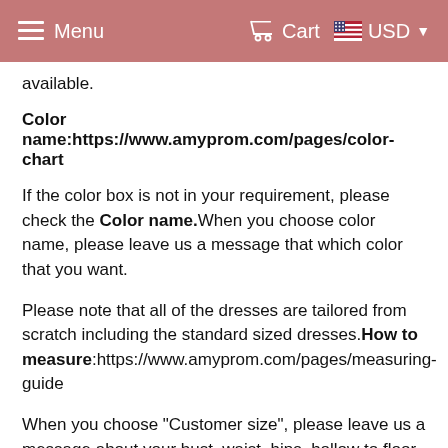≡ Menu   Cart   🇺🇸 USD ▾
available.
Color name:https://www.amyprom.com/pages/color-chart
If the color box is not in your requirement, please check the Color name. When you choose color name, please leave us a message that which color that you want.
Please note that all of the dresses are tailored from scratch including the standard sized dresses. How to measure:https://www.amyprom.com/pages/measuring-guide
When you choose "Customer size", please leave us a message about your bust, waist, hips, hollow to floor with bare foot, extra heels and other necessary measurements.